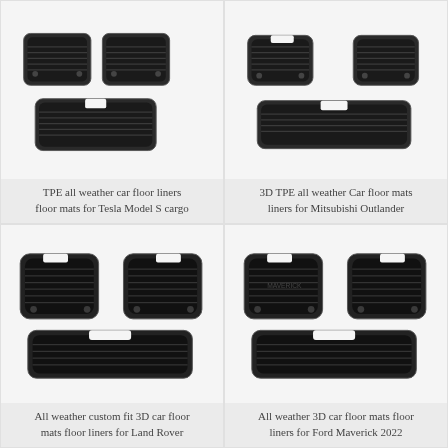[Figure (photo): TPE all weather car floor liners floor mats for Tesla Model S cargo — black rubber floor mats set shown from above]
TPE all weather car floor liners floor mats for Tesla Model S cargo
[Figure (photo): 3D TPE all weather Car floor mats liners for Mitsubishi Outlander — black rubber floor mats set shown from above]
3D TPE all weather Car floor mats liners for Mitsubishi Outlander
[Figure (photo): All weather custom fit 3D car floor mats floor liners for Land Rover — black rubber floor mats set with front and rear pieces]
All weather custom fit 3D car floor mats floor liners for Land Rover
[Figure (photo): All weather 3D car floor mats floor liners for Ford Maverick 2022 — black rubber floor mats set with front and rear pieces]
All weather 3D car floor mats floor liners for Ford Maverick 2022